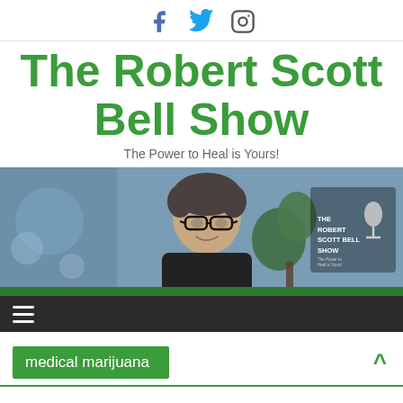Social media icons: Facebook, Twitter, Instagram
The Robert Scott Bell Show
The Power to Heal is Yours!
[Figure (photo): A man with glasses and dark hair smiling, seated in a studio setting. The Robert Scott Bell Show logo is visible in the upper right corner.]
Navigation menu (hamburger icon)
medical marijuana